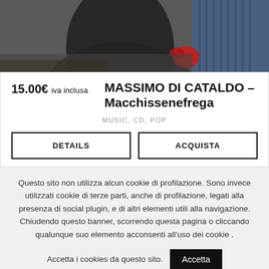[Figure (photo): Product photo showing a person in dark clothing with a red element, partially visible, against a blue background — top of a music CD product card.]
15.00€ iva inclusa    MASSIMO DI CATALDO – Macchissenefrega
MUSIC, CD, POP
DETAILS
ACQUISTA
Questo sito non utilizza alcun cookie di profilazione. Sono invece utilizzati cookie di terze parti, anche di profilazione, legati alla presenza di social plugin, e di altri elementi utili alla navigazione. Chiudendo questo banner, scorrendo questa pagina o cliccando qualunque suo elemento acconsenti all'uso dei cookie .
Accetta i cookies da questo sito. Accetta